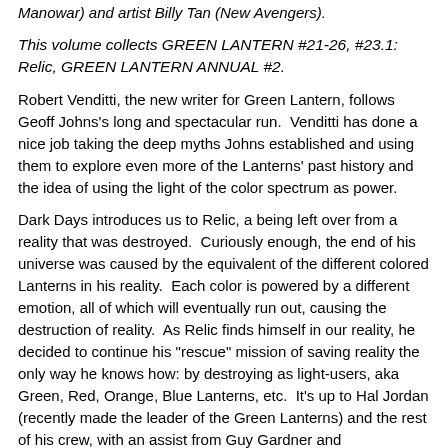Manowar) and artist Billy Tan (New Avengers).
This volume collects GREEN LANTERN #21-26, #23.1: Relic, GREEN LANTERN ANNUAL #2.
Robert Venditti, the new writer for Green Lantern, follows Geoff Johns's long and spectacular run.  Venditti has done a nice job taking the deep myths Johns established and using them to explore even more of the Lanterns' past history and the idea of using the light of the color spectrum as power.
Dark Days introduces us to Relic, a being left over from a reality that was destroyed.  Curiously enough, the end of his universe was caused by the equivalent of the different colored Lanterns in his reality.  Each color is powered by a different emotion, all of which will eventually run out, causing the destruction of reality.  As Relic finds himself in our reality, he decided to continue his "rescue" mission of saving reality the only way he knows how: by destroying as light-users, aka Green, Red, Orange, Blue Lanterns, etc.  It's up to Hal Jordan (recently made the leader of the Green Lanterns) and the rest of his crew, with an assist from Guy Gardner and